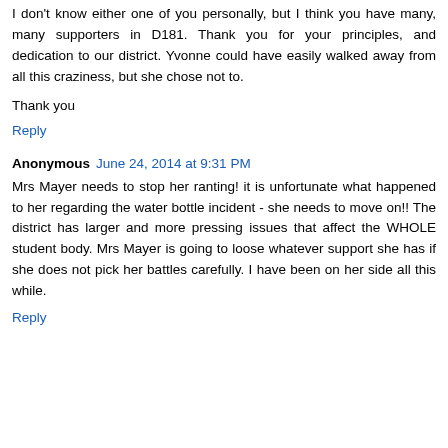I don't know either one of you personally, but I think you have many, many supporters in D181. Thank you for your principles, and dedication to our district. Yvonne could have easily walked away from all this craziness, but she chose not to.
Thank you
Reply
Anonymous  June 24, 2014 at 9:31 PM
Mrs Mayer needs to stop her ranting! it is unfortunate what happened to her regarding the water bottle incident - she needs to move on!! The district has larger and more pressing issues that affect the WHOLE student body. Mrs Mayer is going to loose whatever support she has if she does not pick her battles carefully. I have been on her side all this while.
Reply